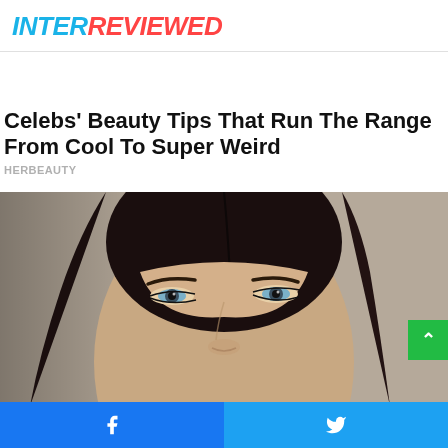INTERREVIEWED
Celebs' Beauty Tips That Run The Range From Cool To Super Weird
HERBEAUTY
[Figure (photo): Close-up portrait of a woman with dark hair, blue-green eyes and subtle makeup against a neutral beige background]
Facebook and Twitter share buttons